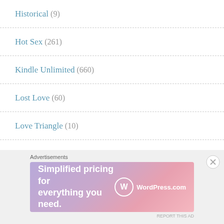Historical (9)
Hot Sex (261)
Kindle Unlimited (660)
Lost Love (60)
Love Triangle (10)
Love/Hate (212)
Mafia (38)
Married Couple (8)
Advertisements
[Figure (other): WordPress.com advertisement banner: 'Simplified pricing for everything you need.' with WordPress.com logo]